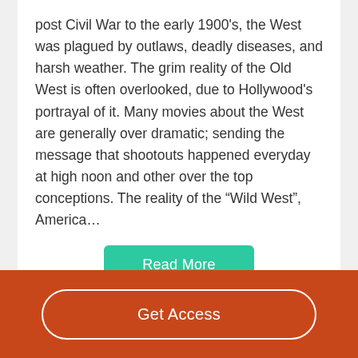post Civil War to the early 1900's, the West was plagued by outlaws, deadly diseases, and harsh weather. The grim reality of the Old West is often overlooked, due to Hollywood's portrayal of it. Many movies about the West are generally over dramatic; sending the message that shootouts happened everyday at high noon and other over the top conceptions. The reality of the “Wild West”, America…
Read More
Decent Essays
American Cowboy Research Paper
Get Access